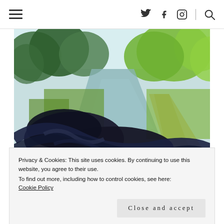Navigation header with hamburger menu, Twitter, Facebook, Instagram icons and search icon
[Figure (photo): View from a narrowboat on a canal, with ropes in the foreground, calm water reflecting green trees, and a towpath to the right lined with lush green vegetation on a sunny day.]
Privacy & Cookies: This site uses cookies. By continuing to use this website, you agree to their use.
To find out more, including how to control cookies, see here:
Cookie Policy
Close and accept